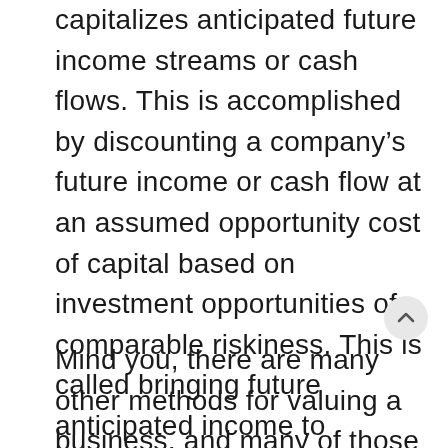capitalizes anticipated future income streams or cash flows. This is accomplished by discounting a company's future income or cash flow at an assumed opportunity cost of capital based on investment opportunities of comparable riskiness. This is called bringing future anticipated income to “present value.” This approach will generally, but not always, produce the highest value.
Mind you, there are many other methods for valuing a business, and many of those are much more complex than the ones outlined